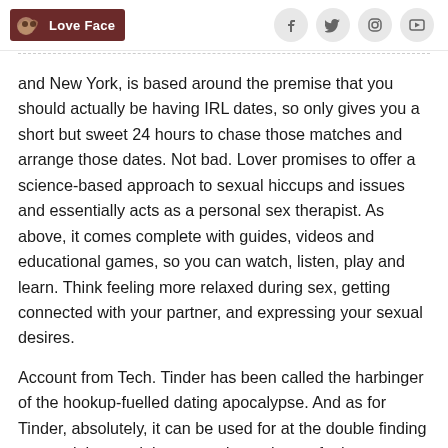Love Face
and New York, is based around the premise that you should actually be having IRL dates, so only gives you a short but sweet 24 hours to chase those matches and arrange those dates. Not bad. Lover promises to offer a science-based approach to sexual hiccups and issues and essentially acts as a personal sex therapist. As above, it comes complete with guides, videos and educational games, so you can watch, listen, play and learn. Think feeling more relaxed during sex, getting connected with your partner, and expressing your sexual desires.
Account from Tech. Tinder has been called the harbinger of the hookup-fuelled dating apocalypse. And as for Tinder, absolutely, it can be used for at the double finding a one-night stand, but around are plenty of other apps so as to are better suited for that assignment. If your life is too active to squeeze in the time-consuming intricacies of a longer-term